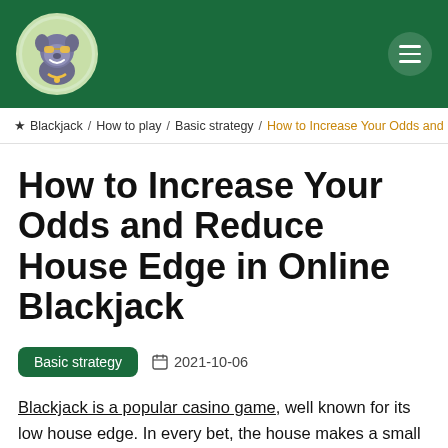[Figure (logo): Circular logo with cartoon dog character wearing sunglasses and gold chain on green background]
★ Blackjack / How to play / Basic strategy / How to Increase Your Odds and Re…
How to Increase Your Odds and Reduce House Edge in Online Blackjack
Basic strategy   2021-10-06
Blackjack is a popular casino game, well known for its low house edge. In every bet, the house makes a small amount of money which goes towards meeting operating expenses. In simple words, the